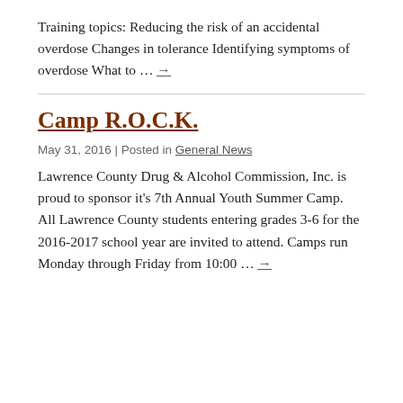Training topics: Reducing the risk of an accidental overdose Changes in tolerance Identifying symptoms of overdose What to … →
Camp R.O.C.K.
May 31, 2016 | Posted in General News
Lawrence County Drug & Alcohol Commission, Inc. is proud to sponsor it's 7th Annual Youth Summer Camp.  All Lawrence County students entering grades 3-6 for the 2016-2017 school year are invited to attend. Camps run Monday through Friday from 10:00 … →